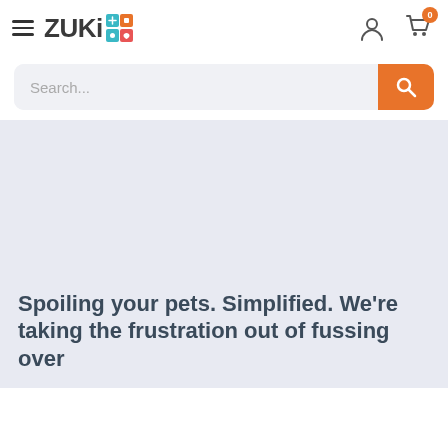ZUKI
[Figure (screenshot): Search bar with orange search button and placeholder text 'Search...']
Spoiling your pets. Simplified. We're taking the frustration out of fussing over